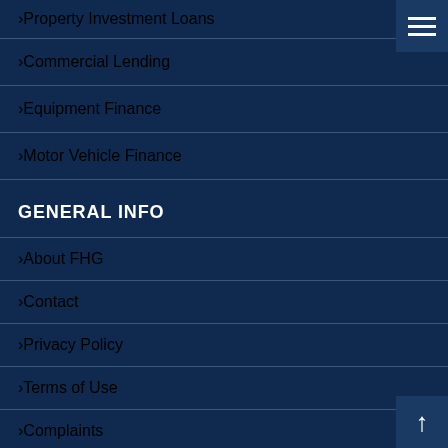Property Investment Loans
Commercial Lending
Equipment Finance
Motor Vehicle Finance
GENERAL INFO
About FHG
Contact
Privacy Policy
Terms of Use
Complaints